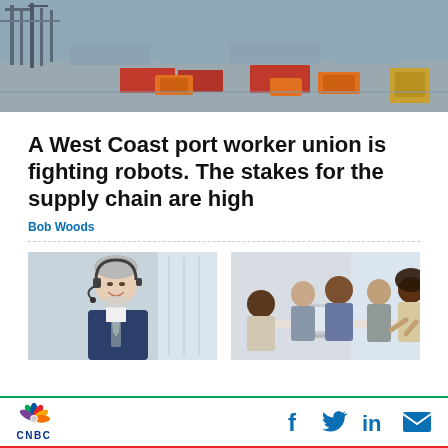[Figure (photo): Aerial view of a shipping port with orange automated guided vehicles transporting shipping containers across a large terminal area.]
A West Coast port worker union is fighting robots. The stakes for the supply chain are high
Bob Woods
[Figure (photo): Older man in a business suit wearing a headset, smiling, in an office environment.]
[Figure (photo): Group of diverse business people sitting around a conference table with a laptop, engaged in a meeting.]
CNBC | Facebook | Twitter | LinkedIn | Email